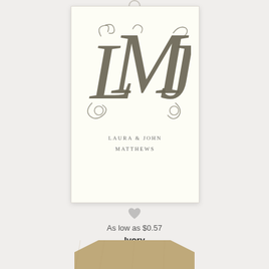[Figure (illustration): An ivory monogram gift tag card featuring ornate calligraphic initials LMJ in dark grey, with names LAURA & JOHN MATTHEWS printed below in small caps, shown with a circular ring at the top.]
As low as $0.57
Ivory
[Figure (illustration): Partial view of a kraft brown monogram gift tag at the bottom of the image.]